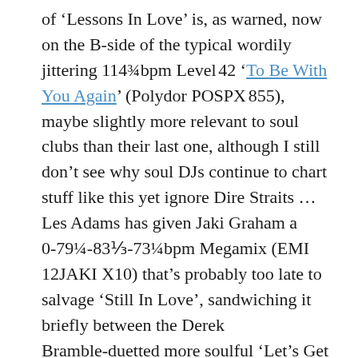of 'Lessons In Love' is, as warned, now on the B-side of the typical wordily jittering 114¾bpm Level 42 'To Be With You Again' (Polydor POSPX 855), maybe slightly more relevant to soul clubs than their last one, although I still don't see why soul DJs continue to chart stuff like this yet ignore Dire Straits … Les Adams has given Jaki Graham a 0-79¼-83⅓-73¼bpm Megamix (EMI 12JAKI X10) that's probably too late to salvage 'Still In Love', sandwiching it briefly between the Derek Bramble-duetted more soulful 'Let's Get Blue', and 'Love Under Moonlight' … Dancin' Danny D might have blown it this time by making his upcoming Patrice Rushen remix clodhoppingly Hi-NRG, while his Chinese-